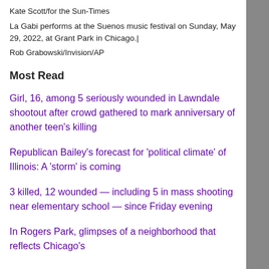Kate Scott/for the Sun-Times
La Gabi performs at the Suenos music festival on Sunday, May 29, 2022, at Grant Park in Chicago.|
Rob Grabowski/Invision/AP
Most Read
Girl, 16, among 5 seriously wounded in Lawndale shootout after crowd gathered to mark anniversary of another teen's killing
Republican Bailey's forecast for 'political climate' of Illinois: A 'storm' is coming
3 killed, 12 wounded — including 5 in mass shooting near elementary school — since Friday evening
In Rogers Park, glimpses of a neighborhood that reflects Chicago's diversity — on the soccer field